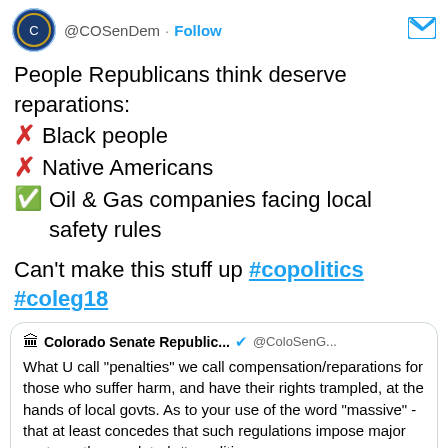@COSenDem · Follow
People Republicans think deserve reparations:
❌ Black people
❌ Native Americans
✅ Oil & Gas companies facing local safety rules
Can't make this stuff up #copolitics #coleg18
Colorado Senate Republic... @ColoSenG... What U call "penalties" we call compensation/reparations for those who suffer harm, and have their rights trampled, at the hands of local govts. As to your use of the word "massive" - that at least concedes that such regulations impose major costs on the regulated. #copolitics twitter.com/COSenDem/statu...